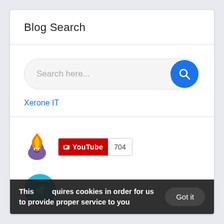Blog Search
[Figure (screenshot): Search bar with placeholder text 'Search here...' and a blue circular search button with magnifying glass icon]
Xerone IT
[Figure (logo): Flame/fire mascot logo icon (blue and orange flame character)]
[Figure (infographic): YouTube subscribe badge showing YouTube logo and count 704]
[Figure (logo): Telegram icon - circular teal/green button with paper plane icon]
ChatPion Community
This requires cookies in order for us to provide proper service to you
Got it